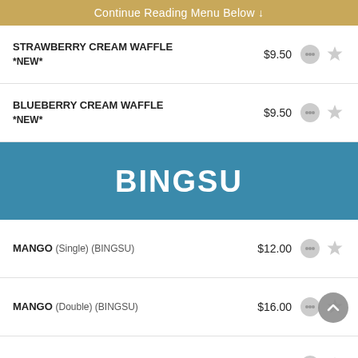Continue Reading Menu Below ↓
STRAWBERRY CREAM WAFFLE *NEW* $9.50
BLUEBERRY CREAM WAFFLE *NEW* $9.50
BINGSU
MANGO (Single) (BINGSU) $12.00
MANGO (Double) (BINGSU) $16.00
SNOW BINGSU (Single) (BINGSU) $11.00
SNOW BINGSU (Double) (BINGSU) $15.00
KONG BINGSU (Single) (BINGSU) $11.00